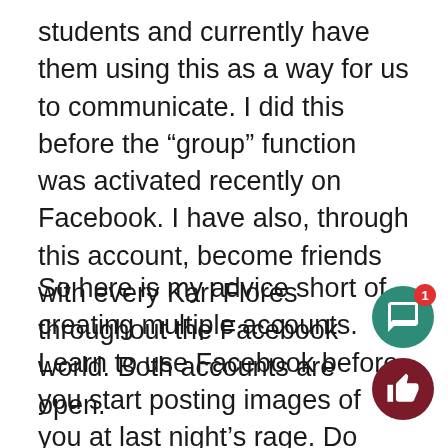students and currently have them using this as a way for us to communicate. I did this before the “group” function was activated recently on Facebook. I have also, through this account, become friends with every Karl Flores throughout the Facebook world. Both accounts are open.
So here is my advice short of creating multiple accounts. Learn to use Facebook before you start posting images of you at last night’s rage. Do people still “rage”? Two features worth learning about are the private setting and the “group” function where you can post private messages to some friends but not others, a consider keeping your profile private to only friends  with whom you want to communic Think of it as doing what some of your paren